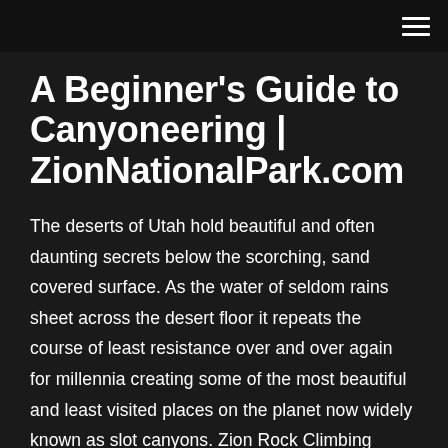A Beginner's Guide to Canyoneering | ZionNationalPark.com
The deserts of Utah hold beautiful and often daunting secrets below the scorching, sand covered surface. As the water of seldom rains sheet across the desert floor it repeats the course of least resistance over and over again for millennia creating some of the most beautiful and least visited places on the planet now widely known as slot canyons. Zion Rock Climbing Guides | - Zion UT Canyoneering Guide Service ZION MOUNTAINEERING SCHOOL Thanks for visiting ZMS, Zion's Only Comprehensive Canyoneering & Rock Climbing Guide